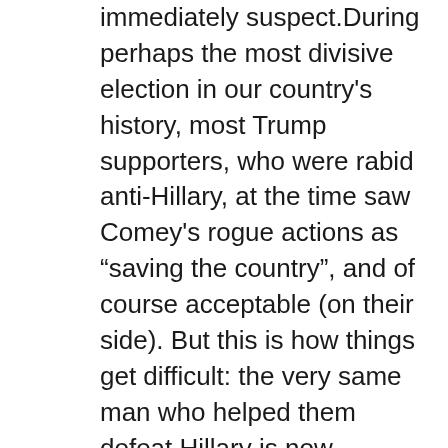immediately suspect.During perhaps the most divisive election in our country's history, most Trump supporters, who were rabid anti-Hillary, at the time saw Comey's rogue actions as “saving the country”, and of course acceptable (on their side). But this is how things get difficult: the very same man who helped them defeat Hillary is now helping defeat Trump, possibly.The crux of F Scott's quote above. Two opposing ideas.Americans are tasked, right now, with understanding the inherent contradiction of two opposing ideas at the same time: Jim Comey deserved to be fired, but not now. Not under these circumstances. This is what makes this so damn difficult- politics loves to sow confusion and divisive thought. If F